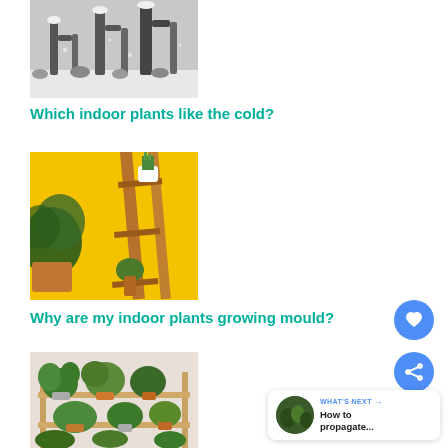[Figure (photo): Black and white photo of snow-covered cacti and desert plants]
Which indoor plants like the cold?
[Figure (photo): Plants on a wooden ladder shelf against a bright yellow wall]
Why are my indoor plants growing mould?
[Figure (photo): Various indoor plants on a wooden shelf/stand]
[Figure (photo): What's next thumbnail - How to propagate...]